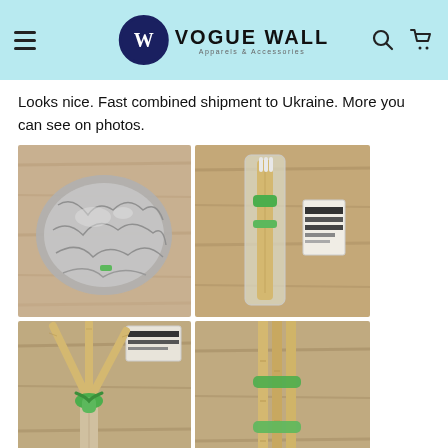Vogue Wall — Apparels & Accessories
Looks nice. Fast combined shipment to Ukraine. More you can see on photos.
[Figure (photo): Photo of product wrapped in crumpled aluminum foil on a wooden surface]
[Figure (photo): Photo of bamboo toothbrush with green grip in plastic packaging alongside a small box, on wooden surface]
[Figure (photo): Photo of bamboo toothbrush with three bristle tips fanned out and green clip, on wooden surface with small box]
[Figure (photo): Photo of bamboo toothbrush bundled together with green elastic bands on wooden surface]
[Figure (photo): Partial photo of green-handled item at bottom of page]